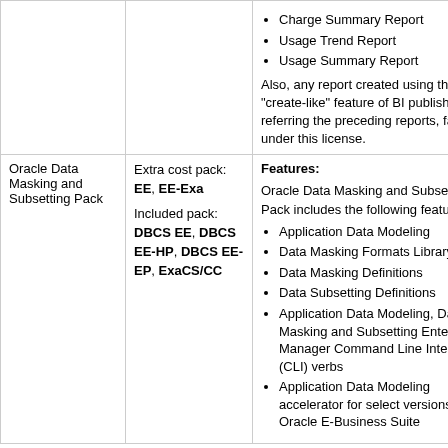| Product | License Type | Description |
| --- | --- | --- |
|  |  | Charge Summary Report
Usage Trend Report
Usage Summary Report

Also, any report created using the "create-like" feature of BI publisher referring the preceding reports, falls under this license. |
| Oracle Data Masking and Subsetting Pack | Extra cost pack: EE, EE-Exa

Included pack: DBCS EE, DBCS EE-HP, DBCS EE-EP, ExaCS/CC | Features:

Oracle Data Masking and Subsetting Pack includes the following features:
- Application Data Modeling
- Data Masking Formats Library
- Data Masking Definitions
- Data Subsetting Definitions
- Application Data Modeling, Data Masking and Subsetting Enterprise Manager Command Line Interface (CLI) verbs
- Application Data Modeling accelerator for select versions of Oracle E-Business Suite |